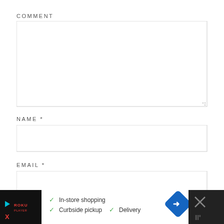COMMENT
[Figure (other): Empty comment textarea input box]
NAME *
[Figure (other): Empty name text input box]
EMAIL *
[Figure (other): Empty email text input box]
[Figure (infographic): Advertisement banner: In-store shopping, Curbside pickup, Delivery with green checkmarks, blue navigation icon, and Roku-style branding on dark background]